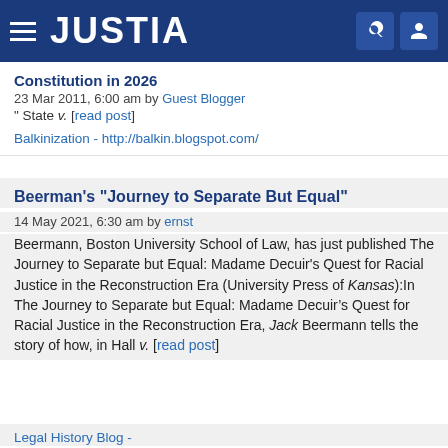JUSTIA
Constitution in 2026
23 Mar 2011, 6:00 am by Guest Blogger
" State v. [read post]
Balkinization - http://balkin.blogspot.com/
Beerman's "Journey to Separate But Equal"
14 May 2021, 6:30 am by ernst
Beermann, Boston University School of Law, has just published The Journey to Separate but Equal: Madame Decuir's Quest for Racial Justice in the Reconstruction Era (University Press of Kansas):In The Journey to Separate but Equal: Madame Decuir's Quest for Racial Justice in the Reconstruction Era, Jack Beermann tells the story of how, in Hall v. [read post]
Legal History Blog -